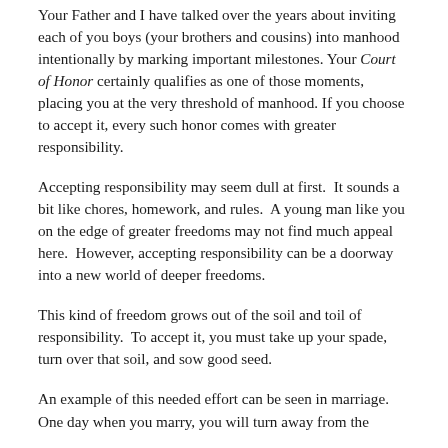Your Father and I have talked over the years about inviting each of you boys (your brothers and cousins) into manhood intentionally by marking important milestones. Your Court of Honor certainly qualifies as one of those moments, placing you at the very threshold of manhood. If you choose to accept it, every such honor comes with greater responsibility.
Accepting responsibility may seem dull at first.  It sounds a bit like chores, homework, and rules.  A young man like you on the edge of greater freedoms may not find much appeal here.  However, accepting responsibility can be a doorway into a new world of deeper freedoms.
This kind of freedom grows out of the soil and toil of responsibility.  To accept it, you must take up your spade, turn over that soil, and sow good seed.
An example of this needed effort can be seen in marriage. One day when you marry, you will turn away from the